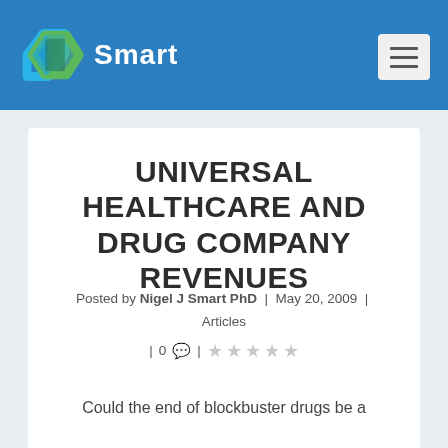Smart
UNIVERSAL HEALTHCARE AND DRUG COMPANY REVENUES
Posted by Nigel J Smart PhD | May 20, 2009 | Articles | 0 | ☆☆☆☆☆
Could the end of blockbuster drugs be a